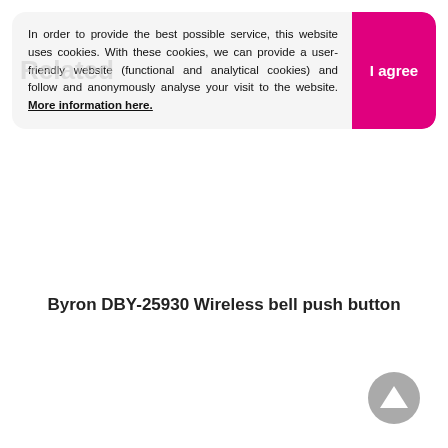Related
In order to provide the best possible service, this website uses cookies. With these cookies, we can provide a user-friendly website (functional and analytical cookies) and follow and anonymously analyse your visit to the website. More information here.
I agree
Byron DBY-25930 Wireless bell push button
[Figure (other): Scroll-to-top button circle arrow icon in grey]